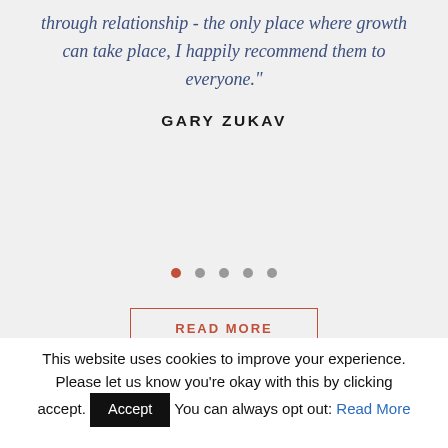through relationship - the only place where growth can take place, I happily recommend them to everyone."
GARY ZUKAV
[Figure (other): Carousel navigation dots: first dot is active (orange/red), four remaining dots are grey]
READ MORE
This website uses cookies to improve your experience. Please let us know you’re okay with this by clicking accept. You can always opt out: Read More